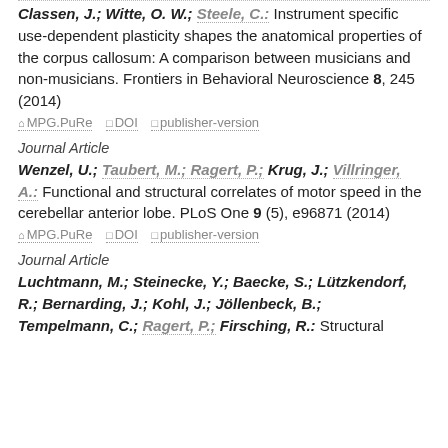Classen, J.; Witte, O. W.; Steele, C.: Instrument specific use-dependent plasticity shapes the anatomical properties of the corpus callosum: A comparison between musicians and non-musicians. Frontiers in Behavioral Neuroscience 8, 245 (2014)
MPG.PuRe  DOI  publisher-version
Journal Article
Wenzel, U.; Taubert, M.; Ragert, P.; Krug, J.; Villringer, A.: Functional and structural correlates of motor speed in the cerebellar anterior lobe. PLoS One 9 (5), e96871 (2014)
MPG.PuRe  DOI  publisher-version
Journal Article
Luchtmann, M.; Steinecke, Y.; Baecke, S.; Lützkendorf, R.; Bernarding, J.; Kohl, J.; Jöllenbeck, B.; Tempelmann, C.; Ragert, P.; Firsching, R.: Structural